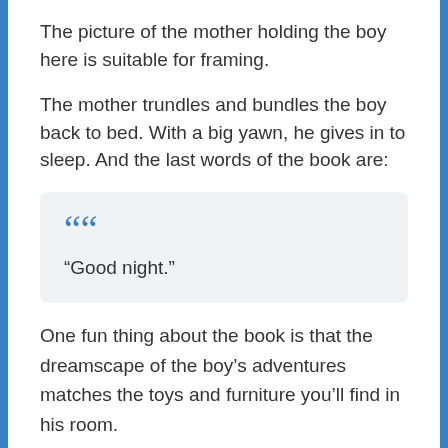The picture of the mother holding the boy here is suitable for framing.
The mother trundles and bundles the boy back to bed. With a big yawn, he gives in to sleep. And the last words of the book are:
“Good night.”
One fun thing about the book is that the dreamscape of the boy’s adventures matches the toys and furniture you’ll find in his room.